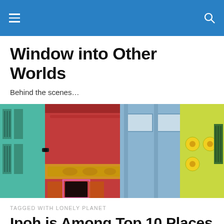Window into Other Worlds – navigation bar
Window into Other Worlds
Behind the scenes…
[Figure (photo): Colorful shophouse facades showing teal, red/pink, blue, and yellow buildings with ornate architectural details]
TAGGED WITH LONELY PLANET
Ipoh is Among Top 10 Places to Visit in Asia!